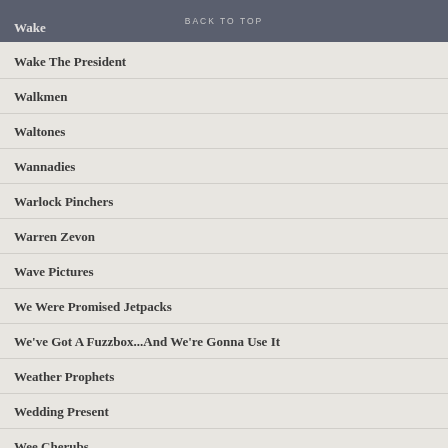BACK TO TOP
Wake The President
Walkmen
Waltones
Wannadies
Warlock Pinchers
Warren Zevon
Wave Pictures
We Were Promised Jetpacks
We've Got A Fuzzbox...And We're Gonna Use It
Weather Prophets
Wedding Present
Wee Cherubs